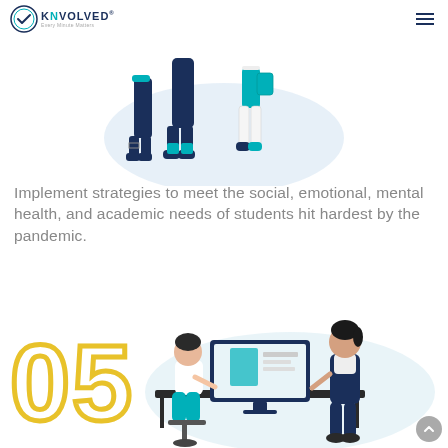Knvolved — Every Minute Matters
[Figure (illustration): Flat vector illustration of three people (students/individuals) standing together, shown from waist down, with teal and navy clothing and a light blue shape behind them.]
Implement strategies to meet the social, emotional, mental health, and academic needs of students hit hardest by the pandemic.
[Figure (illustration): Large yellow outlined number '05' on the left side, and a flat vector illustration of two people at a computer desk — one seated working and one standing beside — with a monitor showing a dashboard, on a light blue background.]